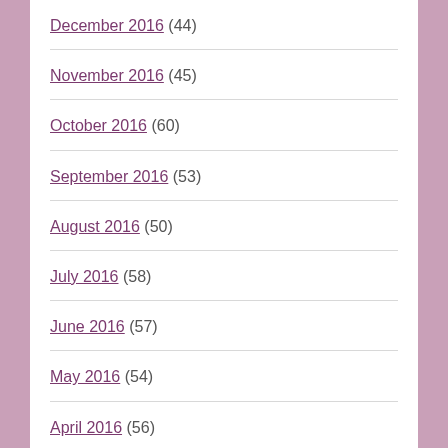December 2016 (44)
November 2016 (45)
October 2016 (60)
September 2016 (53)
August 2016 (50)
July 2016 (58)
June 2016 (57)
May 2016 (54)
April 2016 (56)
March 2016 (55)
February 2016 (51)